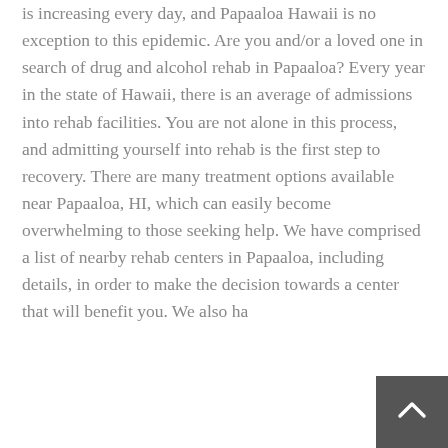is increasing every day, and Papaaloa Hawaii is no exception to this epidemic. Are you and/or a loved one in search of drug and alcohol rehab in Papaaloa? Every year in the state of Hawaii, there is an average of admissions into rehab facilities. You are not alone in this process, and admitting yourself into rehab is the first step to recovery. There are many treatment options available near Papaaloa, HI, which can easily become overwhelming to those seeking help. We have comprised a list of nearby rehab centers in Papaaloa, including details, in order to make the decision towards a center that will benefit you. We also have